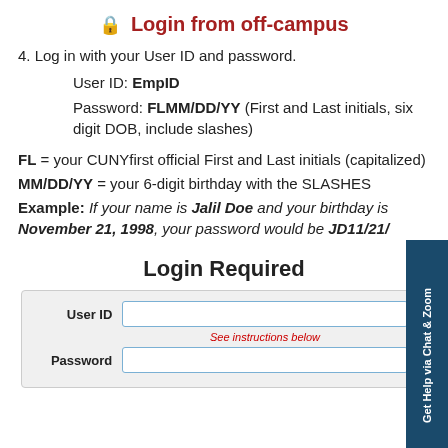🔒 Login from off-campus
4. Log in with your User ID and password.
User ID: EmpID
Password: FLMM/DD/YY (First and Last initials, six digit DOB, include slashes)
FL = your CUNYfirst official First and Last initials (capitalized)
MM/DD/YY = your 6-digit birthday with the SLASHES
Example: If your name is Jalil Doe and your birthday is November 21, 1998, your password would be JD11/21/
[Figure (screenshot): Login Required form with User ID and Password fields. User ID field has hint 'See instructions below' in red italic.]